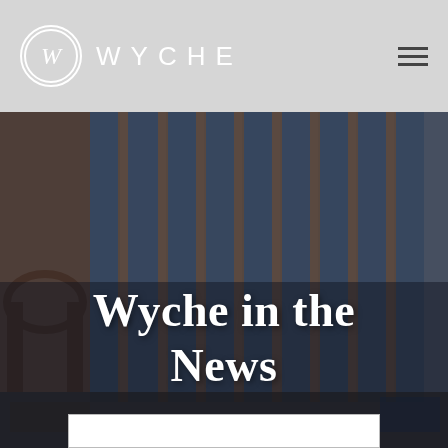WYCHE
[Figure (photo): Photo of a historic brick building with arched windows and tall glass panels, viewed from below at an angle. The image has a dark, muted tone with bluish tints on the windows.]
Wyche in the News